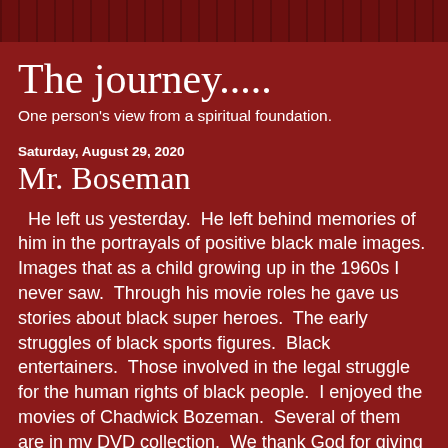The journey.....
One person's view from a spiritual foundation.
Saturday, August 29, 2020
Mr. Boseman
He left us yesterday.  He left behind memories of him in the portrayals of positive black male images. Images that as a child growing up in the 1960s I never saw.  Through his movie roles he gave us stories about black super heroes.  The early struggles of black sports figures.  Black entertainers.  Those involved in the legal struggle for the human rights of black people.  I enjoyed the movies of Chadwick Bozeman.  Several of them are in my DVD collection.  We thank God for giving him to us for the time he was with us.  He fulfilled his purpose.  God has called him Home.  We don't always leave this life in a "peaceful" manner.  For whatever reason we leave after a period of